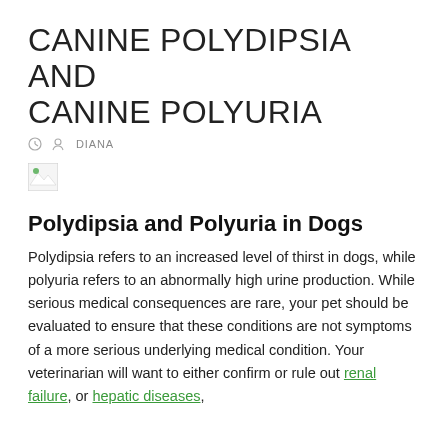CANINE POLYDIPSIA AND CANINE POLYURIA
DIANA
[Figure (other): Broken/placeholder image thumbnail]
Polydipsia and Polyuria in Dogs
Polydipsia refers to an increased level of thirst in dogs, while polyuria refers to an abnormally high urine production. While serious medical consequences are rare, your pet should be evaluated to ensure that these conditions are not symptoms of a more serious underlying medical condition. Your veterinarian will want to either confirm or rule out renal failure, or hepatic diseases,